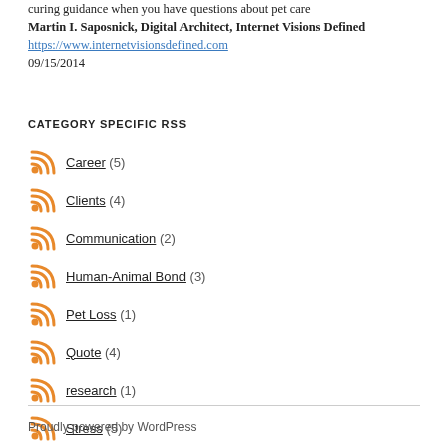curing guidance when you have questions about pet care Martin I. Saposnick, Digital Architect, Internet Visions Defined https://www.internetvisionsdefined.com 09/15/2014
CATEGORY SPECIFIC RSS
Career (5)
Clients (4)
Communication (2)
Human-Animal Bond (3)
Pet Loss (1)
Quote (4)
research (1)
Stress (5)
Proudly powered by WordPress